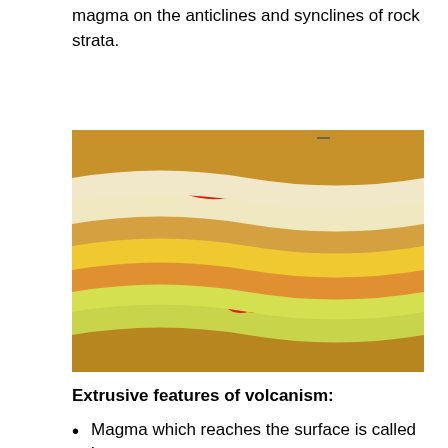magma on the anticlines and synclines of rock strata.
[Figure (illustration): Cross-section diagram showing anticlines and synclines of rock strata with wavy colored layers of rock and red magma intrusions at the anticline peaks and syncline troughs.]
Extrusive features of volcanism:
Magma which reaches the surface is called lava.